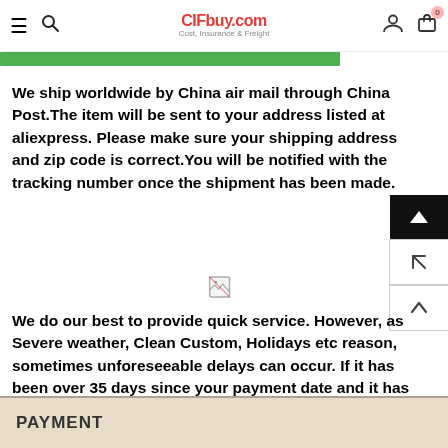CIFbuy.com Cost, Insurance & Freight — navigation header with menu, search, logo, user and cart icons
[Figure (other): Green highlighted banner bar partially visible, likely a section heading strip]
We ship worldwide by China air mail through China Post.The item will be sent to your address listed at aliexpress. Please make sure your shipping address and zip code is correct.You will be notified with the tracking number once the shipment has been made.
[Figure (other): Broken/loading image placeholder icon]
We do our best to provide quick service. However, as Severe weather, Clean Custom, Holidays etc reason, sometimes unforeseeable delays can occur. If it has been over 35 days since your payment date and it has not been received, contact us immediately, we will work quickly to locate the item and help solve it.
PAYMENT